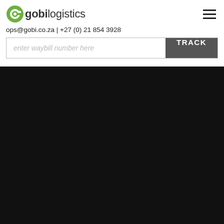[Figure (logo): Gobi Logistics logo with green circular icon and grey text 'gobilogistics']
ops@gobi.co.za | +27 (0) 21 854 3928
enter waybill number here
TRACK
[Figure (screenshot): Black background area filling the lower portion of the page]